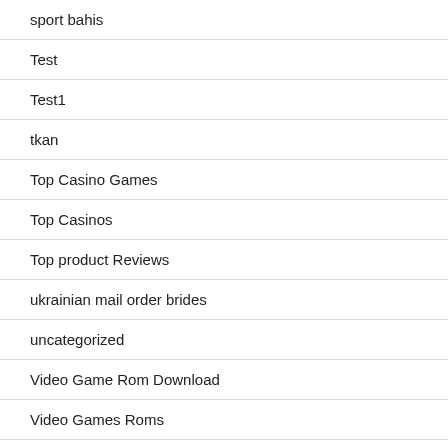sport bahis
Test
Test1
tkan
Top Casino Games
Top Casinos
Top product Reviews
ukrainian mail order brides
uncategorized
Video Game Rom Download
Video Games Roms